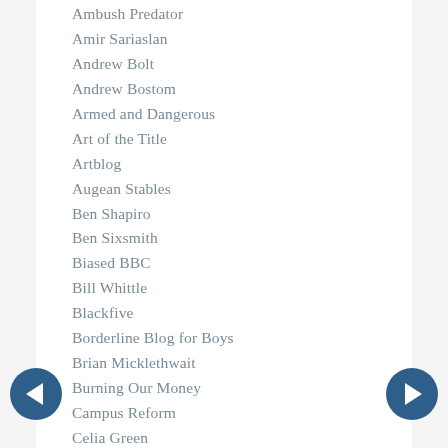Ambush Predator
Amir Sariaslan
Andrew Bolt
Andrew Bostom
Armed and Dangerous
Art of the Title
Artblog
Augean Stables
Ben Shapiro
Ben Sixsmith
Biased BBC
Bill Whittle
Blackfive
Borderline Blog for Boys
Brian Micklethwait
Burning Our Money
Campus Reform
Celia Green
Challenging Opinions
Charles C W Cooke
Charles Murray
Chicago Boyz
Christopher Rufo
City Journal